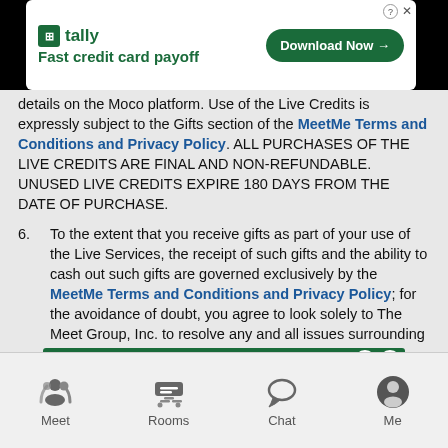[Figure (screenshot): Tally app advertisement banner: green Tally logo with 'Fast credit card payoff' tagline and 'Download Now' button]
details on the Moco platform. Use of the Live Credits is expressly subject to the Gifts section of the MeetMe Terms and Conditions and Privacy Policy. ALL PURCHASES OF THE LIVE CREDITS ARE FINAL AND NON-REFUNDABLE. UNUSED LIVE CREDITS EXPIRE 180 DAYS FROM THE DATE OF PURCHASE.
6. To the extent that you receive gifts as part of your use of the Live Services, the receipt of such gifts and the ability to cash out such gifts are governed exclusively by the MeetMe Terms and Conditions and Privacy Policy; for the avoidance of doubt, you agree to look solely to The Meet Group, Inc. to resolve any and all issues surrounding your receipt or cash out of any gifts received.
Please contact us at support@mocospace.com with any questions regarding the Terms. Moco is a trademark of JNJ Mobile, Inc.
Meet  Rooms  Chat  Me